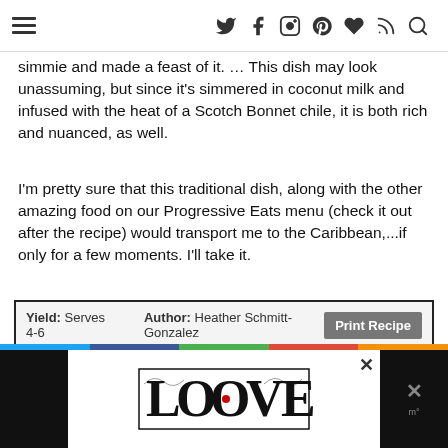Navigation bar with hamburger menu and social icons
...simmie and made a feast of it. ... This dish may look unassuming, but since it's simmered in coconut milk and infused with the heat of a Scotch Bonnet chile, it is both rich and nuanced, as well.
I'm pretty sure that this traditional dish, along with the other amazing food on our Progressive Eats menu (check it out after the recipe) would transport me to the Caribbean,...if only for a few moments. I'll take it.
| Yield | Author | Action |
| --- | --- | --- |
| Serves 4-6 | Heather Schmitt-Gonzalez | Print Recipe |
[Figure (photo): A bowl of rice and beans (Caribbean rice) with garlic and green onions on a wooden surface]
[Figure (logo): LOOVE decorative text logo in black and white with ornate design and a red heart element]